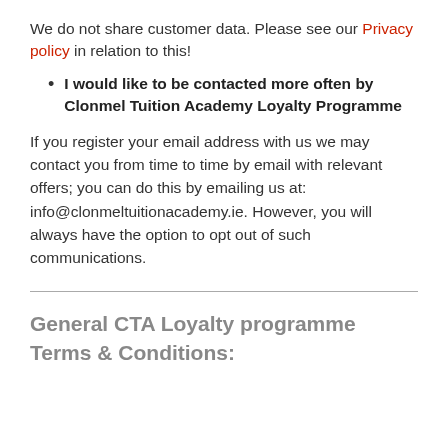We do not share customer data. Please see our Privacy policy in relation to this!
I would like to be contacted more often by Clonmel Tuition Academy Loyalty Programme
If you register your email address with us we may contact you from time to time by email with relevant offers; you can do this by emailing us at: info@clonmeltuitionacademy.ie. However, you will always have the option to opt out of such communications.
General CTA Loyalty programme Terms & Conditions: